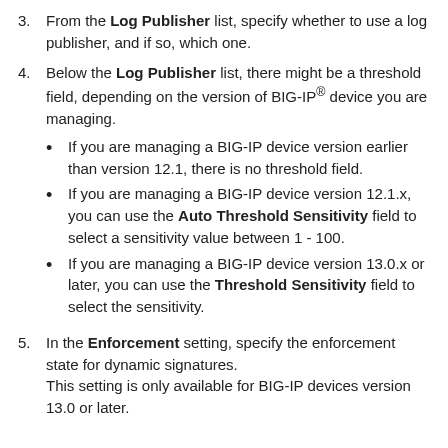3. From the Log Publisher list, specify whether to use a log publisher, and if so, which one.
4. Below the Log Publisher list, there might be a threshold field, depending on the version of BIG-IP® device you are managing.
• If you are managing a BIG-IP device version earlier than version 12.1, there is no threshold field.
• If you are managing a BIG-IP device version 12.1.x, you can use the Auto Threshold Sensitivity field to select a sensitivity value between 1 - 100.
• If you are managing a BIG-IP device version 13.0.x or later, you can use the Threshold Sensitivity field to select the sensitivity.
5. In the Enforcement setting, specify the enforcement state for dynamic signatures. This setting is only available for BIG-IP devices version 13.0 or later.